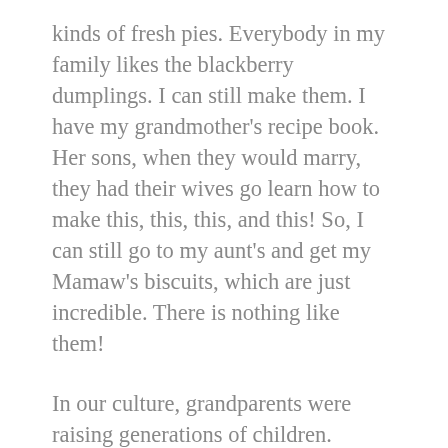kinds of fresh pies. Everybody in my family likes the blackberry dumplings. I can still make them. I have my grandmother's recipe book. Her sons, when they would marry, they had their wives go learn how to make this, this, this, and this! So, I can still go to my aunt's and get my Mamaw's biscuits, which are just incredible. There is nothing like them!
In our culture, grandparents were raising generations of children. Especially with the opioid epidemic, it became even more pronounced. It happens over and over and over, in our culture, in these mountains...grandparents raising their grandchildren. My grandma and grandpa would say, “Sissy, we’re going to the river tomorrow. Are